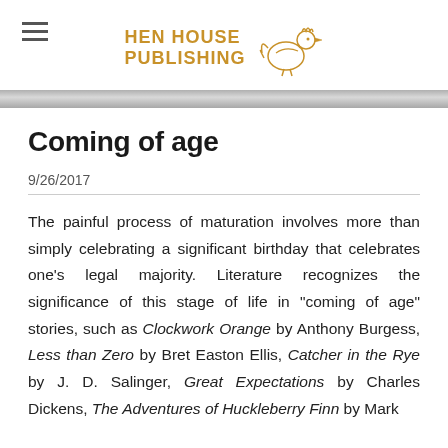HEN HOUSE PUBLISHING
Coming of age
9/26/2017
The painful process of maturation involves more than simply celebrating a significant birthday that celebrates one's legal majority. Literature recognizes the significance of this stage of life in "coming of age" stories, such as Clockwork Orange by Anthony Burgess, Less than Zero by Bret Easton Ellis, Catcher in the Rye by J. D. Salinger, Great Expectations by Charles Dickens, The Adventures of Huckleberry Finn by Mark